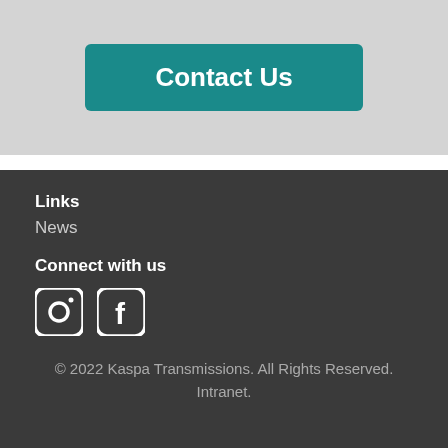[Figure (other): Contact Us button — teal rounded rectangle with white bold text]
Links
News
Connect with us
[Figure (other): Instagram and Facebook social media icons in white on dark background]
© 2022 Kaspa Transmissions. All Rights Reserved. Intranet.